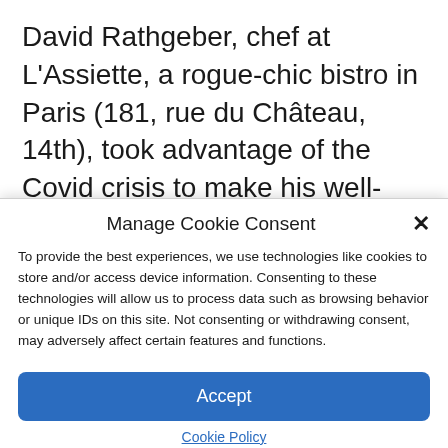David Rathgeber, chef at L'Assiette, a rogue-chic bistro in Paris (181, rue du Château, 14th), took advantage of the Covid crisis to make his well-sourced grocery and street food-inspired project a reality "travel" restaurant attached to his. Customers have become accustomed to tasting its super
Manage Cookie Consent
To provide the best experiences, we use technologies like cookies to store and/or access device information. Consenting to these technologies will allow us to process data such as browsing behavior or unique IDs on this site. Not consenting or withdrawing consent, may adversely affect certain features and functions.
Accept
Cookie Policy